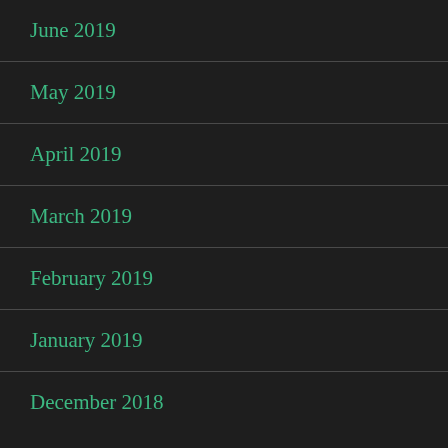June 2019
May 2019
April 2019
March 2019
February 2019
January 2019
December 2018